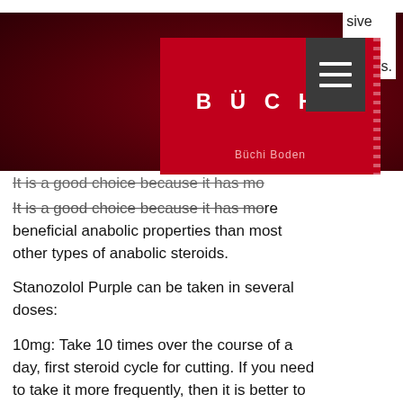[Figure (screenshot): Website header with Büchi logo on dark red background and hamburger menu icon, with partial text visible on the right side]
It is a good choice because it has more beneficial anabolic properties than most other types of anabolic steroids.
Stanozolol Purple can be taken in several doses:
10mg: Take 10 times over the course of a day, first steroid cycle for cutting. If you need to take it more frequently, then it is better to use 0-6mg.
Take 10 times over the course of a day, first steroid cycle for cutting. If you need to take it more frequently, then it is better to use 0-6mg, winstrol cycle for fat loss. 1-5mg: Take one or two times a day